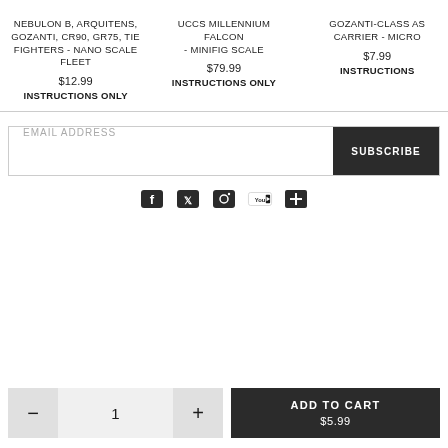NEBULON B, ARQUITENS, GOZANTI, CR90, GR75, TIE FIGHTERS - NANO SCALE FLEET
$12.99
INSTRUCTIONS ONLY
UCCS MILLENNIUM FALCON - MINIFIG SCALE
$79.99
INSTRUCTIONS ONLY
GOZANTI-CLASS AS CARRIER - MICRO
$7.99
INSTRUCTIONS
EMAIL ADDRESS
SUBSCRIBE
[Figure (infographic): Social media icons row: Facebook, Twitter/X, Instagram, YouTube, and one more partially visible]
− 1 +
ADD TO CART $5.99